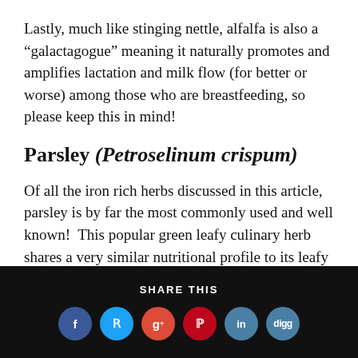Lastly, much like stinging nettle, alfalfa is also a “galactagogue” meaning it naturally promotes and amplifies lactation and milk flow (for better or worse) among those who are breastfeeding, so please keep this in mind!
Parsley (Petroselinum crispum)
Of all the iron rich herbs discussed in this article, parsley is by far the most commonly used and well known!  This popular green leafy culinary herb shares a very similar nutritional profile to its leafy ▼
SHARE THIS [Facebook] [Twitter] [Google+] [Pinterest] [LinkedIn] [Digg]